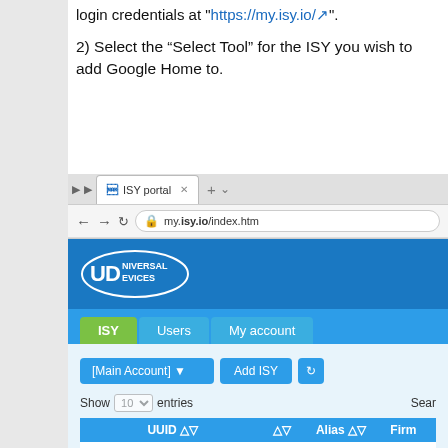login credentials at "https://my.isy.io/".
2) Select the “Select Tool” for the ISY you wish to add Google Home to.
[Figure (screenshot): Browser screenshot showing the ISY portal at my.isy.io/index.htm. The portal shows the Universal Devices logo, navigation tabs (ISY active, Users, My account), a [Main Account] dropdown, Add ISY button, a table with columns UUID, Alias, Firmware showing one entry: 00:00:00:00:00:00, ISY, 5.0.1, and a footer showing 'Showing 1 to 1 of 1 entries'.]